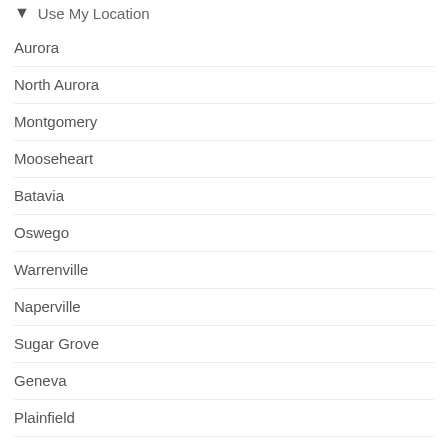Use My Location
Aurora
North Aurora
Montgomery
Mooseheart
Batavia
Oswego
Warrenville
Naperville
Sugar Grove
Geneva
Plainfield
West Chicago